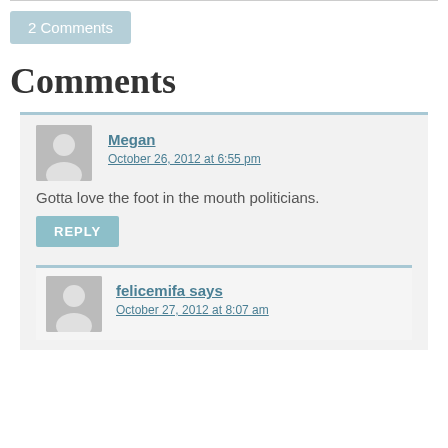2 Comments
Comments
Megan says
October 26, 2012 at 6:55 pm
Gotta love the foot in the mouth politicians.
REPLY
felicemifa says
October 27, 2012 at 8:07 am